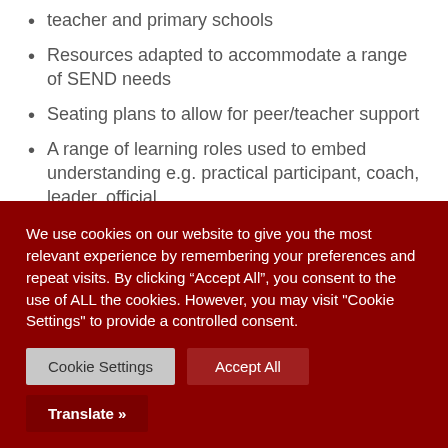teacher and primary schools
Resources adapted to accommodate a range of SEND needs
Seating plans to allow for peer/teacher support
A range of learning roles used to embed understanding e.g. practical participant, coach, leader, official
Differentiated and feedback tasks outlined clearly on the board or in teaching resources and linked to assessment criteria at KS4.
We use cookies on our website to give you the most relevant experience by remembering your preferences and repeat visits. By clicking “Accept All”, you consent to the use of ALL the cookies. However, you may visit "Cookie Settings" to provide a controlled consent.
Cookie Settings
Accept All
Translate »